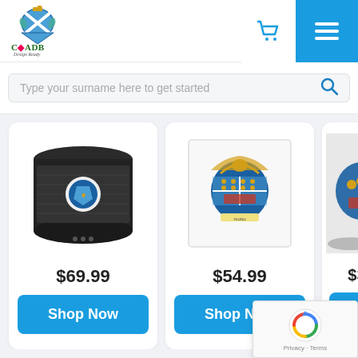[Figure (logo): COADB coat of arms logo with crown and shields, text 'COADB' and 'Design Ready' below]
[Figure (illustration): Blue shopping cart icon]
[Figure (illustration): Hamburger menu icon (three horizontal lines) on blue background]
Type your surname here to get started
[Figure (illustration): Blue magnifying glass search icon]
[Figure (photo): Black cylindrical Bluetooth speaker with a family coat of arms design on it]
$69.99
Shop Now
[Figure (photo): White shower curtain with a blue and gold family coat of arms design]
$54.99
Shop Now
[Figure (photo): Partial product with coat of arms design, price partially visible]
$34
Shop Now
[Figure (other): Google reCAPTCHA widget with logo and Privacy/Terms links]